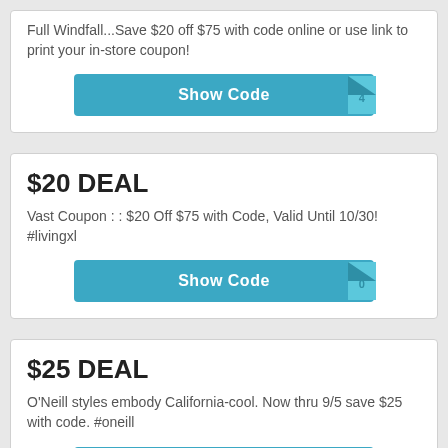Full Windfall...Save $20 off $75 with code online or use link to print your in-store coupon!
[Figure (other): Show Code button with tab graphic]
$20 DEAL
Vast Coupon : : $20 Off $75 with Code, Valid Until 10/30! #livingxl
[Figure (other): Show Code button with tab graphic]
$25 DEAL
O'Neill styles embody California-cool. Now thru 9/5 save $25 with code. #oneill
[Figure (other): Show Code button with tab graphic]
$25 DEAL